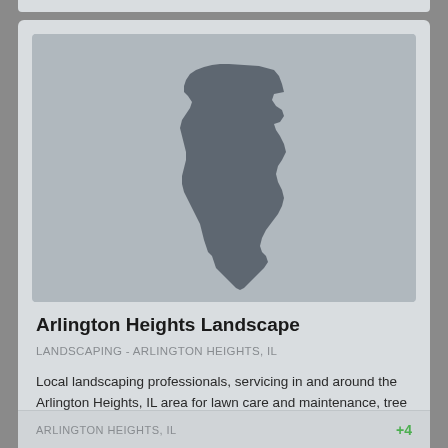[Figure (map): Silhouette map of the state of Illinois on a light gray background]
Arlington Heights Landscape
LANDSCAPING - ARLINGTON HEIGHTS, IL
Local landscaping professionals, servicing in and around the Arlington Heights, IL area for lawn care and maintenance, tree services, brickwork, and snow removal.
ARLINGTON HEIGHTS, IL   +4